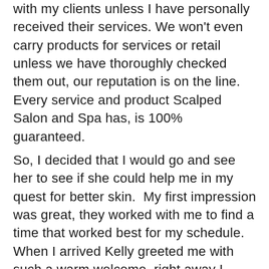with my clients unless I have personally received their services. We won't even carry products for services or retail unless we have thoroughly checked them out, our reputation is on the line. Every service and product Scalped Salon and Spa has, is 100% guaranteed.
So, I decided that I would go and see her to see if she could help me in my quest for better skin.  My first impression was great, they worked with me to find a time that worked best for my schedule. When I arrived Kelly greeted me with such a warm welcome, right away I could tell how much she loves what she does.